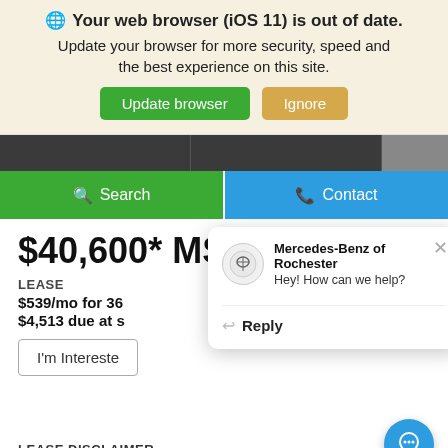🌐 Your web browser (iOS 11) is out of date. Update your browser for more security, speed and the best experience on this site.
Update browser | Ignore
[Figure (screenshot): Navigation bar with dark background, two column sections and a grey section on right]
[Figure (screenshot): Green Search button and blue Contact button row]
$40,600* MSRP
LEASE
$539/mo for 36
$4,513 due at s
I'm Intereste
[Figure (screenshot): Mercedes-Benz of Rochester chat popup with logo, greeting 'Hey! How can we help?' and Reply button. Close X button in top right corner.]
LEASE DISCLAIMER
Available only to qualified customers through Mercedes-Benz Financial Services at participating dealers through August 31, 2022. Not will qualify. Advertised 36 months lease payment based on MSR
[Figure (screenshot): Blue circular chat bubble FAB button in bottom right corner]